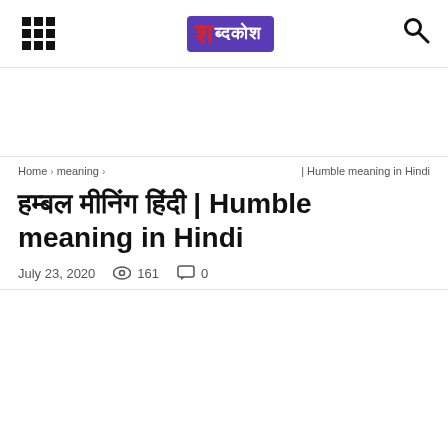शब्दकोश
Home › meaning ›  | Humble meaning in Hindi
हम्बल मीनिंग हिंदी | Humble meaning in Hindi
July 23, 2020   161   0